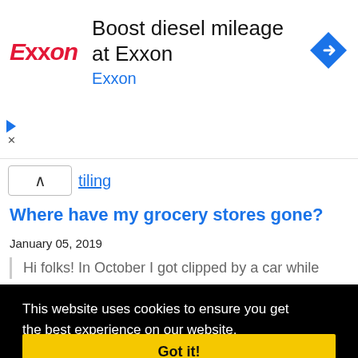[Figure (screenshot): Exxon advertisement banner with Exxon logo in red italic text, headline 'Boost diesel mileage at Exxon', subline 'Exxon' in blue, and a blue diamond navigation icon on the right. Play and close controls visible at bottom left.]
tilting
Where have my grocery stores gone?
January 05, 2019
Hi folks! In October I got clipped by a car while
This website uses cookies to ensure you get the best experience on our website.
Learn more
Got it!
December 29, 2018